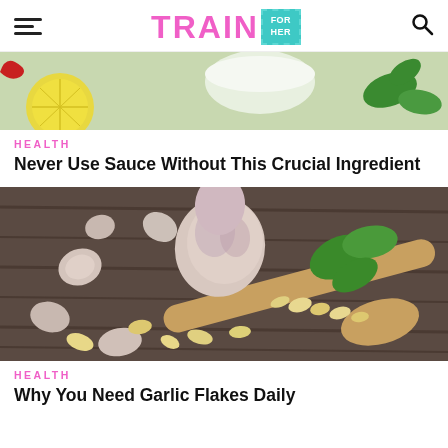TRAIN FOR HER
[Figure (photo): Top portion of a food preparation scene with lemon slices, a white bowl, red chili pepper, and green basil leaves on a light surface]
HEALTH
Never Use Sauce Without This Crucial Ingredient
[Figure (photo): Garlic cloves, garlic flakes on a wooden spoon, and fresh basil leaves arranged on a dark wooden surface]
HEALTH
Why You Need Garlic Flakes Daily